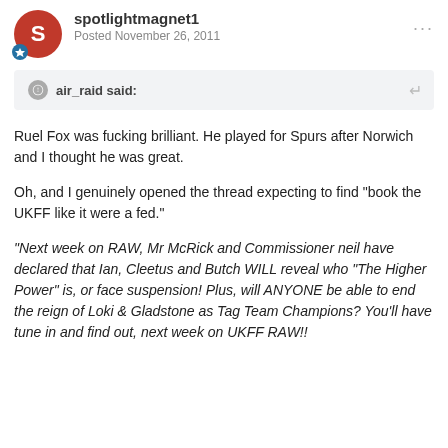spotlightmagnet1 — Posted November 26, 2011
air_raid said:
Ruel Fox was fucking brilliant. He played for Spurs after Norwich and I thought he was great.
Oh, and I genuinely opened the thread expecting to find "book the UKFF like it were a fed."
"Next week on RAW, Mr McRick and Commissioner neil have declared that Ian, Cleetus and Butch WILL reveal who "The Higher Power" is, or face suspension! Plus, will ANYONE be able to end the reign of Loki & Gladstone as Tag Team Champions? You'll have tune in and find out, next week on UKFF RAW!!